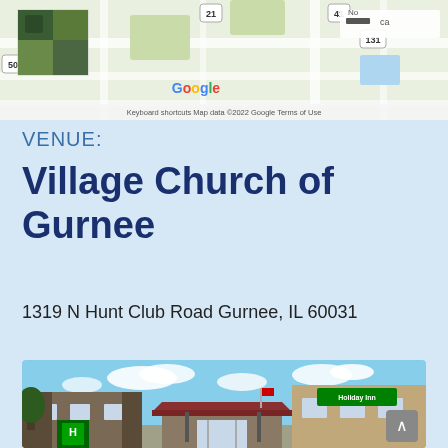[Figure (map): Google Maps screenshot showing the area around Gurnee, IL with route markers 83, 21, 41, 131 visible, along with a satellite image inset in the top left corner. Map attribution reads 'Keyboard shortcuts  Map data ©2022 Google  Terms of Use']
VENUE:
Village Church of Gurnee
1319 N Hunt Club Road Gurnee, IL 60031
[Figure (photo): Exterior photo of a building that appears to be a Holiday Inn hotel, with a large parking lot, brick facade, red-roofed entrance canopy, and Holiday Inn sign visible on the right side of the building. Trees in autumn foliage are visible in the background under a blue sky with clouds.]